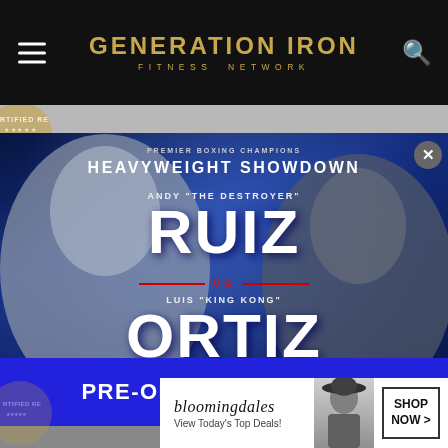Generation Iron Fitness Network
[Figure (photo): Boxing promotional poster: Andy 'The Destroyer' Ruiz vs Luis 'King Kong' Ortiz - Heavyweight Showdown, Premier Boxing Champions. Sunday, Sept 4. Live on FITE. Two fighters shown in fighting stances on blue background with close button (X).]
PRE-ORDER PPV HERE!
CLOSE
[Figure (photo): Bloomingdales advertisement: 'View Today's Top Deals!' with a woman in a hat and 'SHOP NOW >' button.]